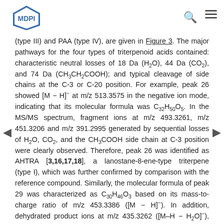MDPI
(type III) and PAA (type IV), are given in Figure 3. The major pathways for the four types of triterpenoid acids contained: characteristic neutral losses of 18 Da (H2O), 44 Da (CO2), and 74 Da (CH3CH2COOH); and typical cleavage of side chains at the C-3 or C-20 position. For example, peak 26 showed [M − H]⁻ at m/z 513.3575 in the negative ion mode, indicating that its molecular formula was C32H50O5. In the MS/MS spectrum, fragment ions at m/z 493.3261, m/z 451.3206 and m/z 391.2995 generated by sequential losses of H2O, CO2, and the CH3COOH side chain at C-3 position were clearly observed. Therefore, peak 26 was identified as AHTRA [3,16,17,18], a lanostane-8-ene-type triterpene (type I), which was further confirmed by comparison with the reference compound. Similarly, the molecular formula of peak 29 was characterized as C30H46O3 based on its mass-to-charge ratio of m/z 453.3386 ([M − H]⁻). In addition, dehydrated product ions at m/z 435.3262 ([M–H − H2O]⁻), m/z 371.2583 ([M − C6H11]⁻) and m/z 309.2204 were formed by eliminating C6H11 (83 Da) side chain at the C-20 position, and by further eliminating H2O, CO2. Peak